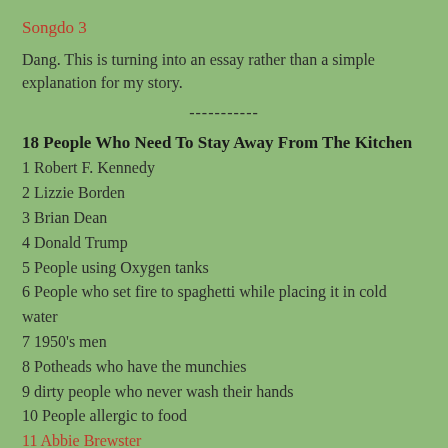Songdo 3
Dang. This is turning into an essay rather than a simple explanation for my story.
-----------
18 People Who Need To Stay Away From The Kitchen
1 Robert F. Kennedy
2 Lizzie Borden
3 Brian Dean
4 Donald Trump
5 People using Oxygen tanks
6 People who set fire to spaghetti while placing it in cold water
7 1950's men
8 Potheads who have the munchies
9 dirty people who never wash their hands
10 People allergic to food
11 Abbie Brewster
12 Martha Brewster
13 Young children who could be scalded
14 Gordon Ramsay